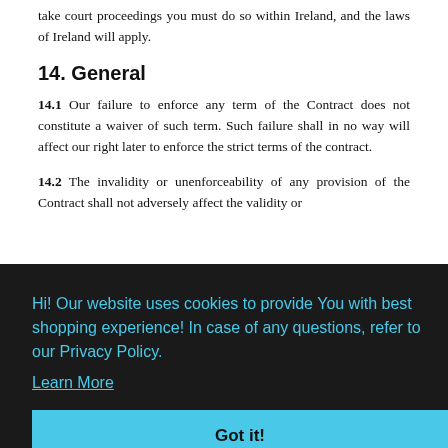take court proceedings you must do so within Ireland, and the laws of Ireland will apply.
14. General
14.1 Our failure to enforce any term of the Contract does not constitute a waiver of such term. Such failure shall in no way will affect our right later to enforce the strict terms of the contract.
14.2 The invalidity or unenforceability of any provision of the Contract shall not adversely affect the validity or
[Figure (screenshot): Cookie consent banner overlay with dark background. Text reads: 'Hi! Our website uses cookies to provide You with best shopping experience! In case of any questions, refer to our Privacy Policy. Learn More' with a 'Got it!' button.]
the course of a business; "Invoice" means the invoice